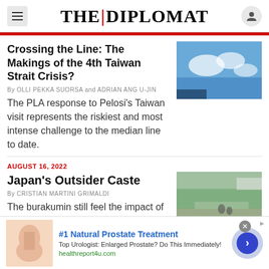THE DIPLOMAT
Crossing the Line: The Makings of the 4th Taiwan Strait Crisis?
By OLLI PEKKA SUORSA and ADRIAN ANG U-JIN
The PLA response to Pelosi’s Taiwan visit represents the riskiest and most intense challenge to the median line to date.
AUGUST 16, 2022
Japan’s Outsider Caste
By CRISTIAN MARTINI GRIMALDI
The burakumin still feel the impact of centuries-old discrimination, though many
#1 Natural Prostate Treatment
Top Urologist: Enlarged Prostate? Do This Immediately!
healthreport4u.com